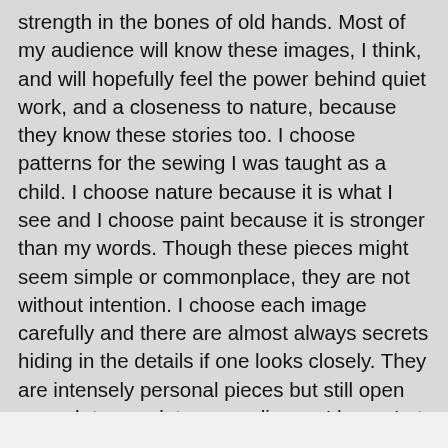strength in the bones of old hands. Most of my audience will know these images, I think, and will hopefully feel the power behind quiet work, and a closeness to nature, because they know these stories too. I choose patterns for the sewing I was taught as a child. I choose nature because it is what I see and I choose paint because it is stronger than my words. Though these pieces might seem simple or commonplace, they are not without intention. I choose each image carefully and there are almost always secrets hiding in the details if one looks closely. They are intensely personal pieces but still open enough to speak to my audience, I hope. Let the viewer fill in the blanks. A true storyteller knows to allow the imagination room to speak. Thank you for listening. Tell me a story?